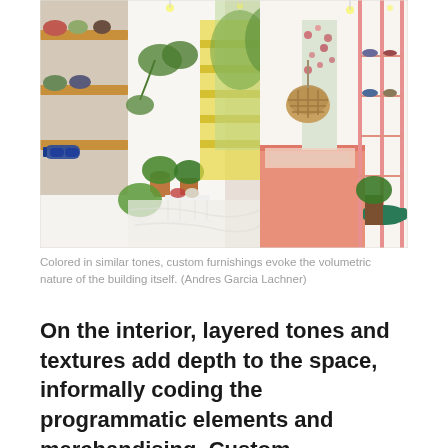[Figure (photo): Interior of a stylish retail store featuring shelves with sunglasses and accessories on the left, lush plants in copper and white pots in the center, a yellow staircase visible through glass in the background, and a pink display pedestal with a mannequin wearing a floral outfit on the right. Pink metal shelving with shoes is visible on the far right.]
Colored in similar tones, custom furnishings evoke the volumetric nature of the building itself. (Andres Garcia Lachner)
On the interior, layered tones and textures add depth to the space, informally coding the programmatic elements and merchandising. Custom furnishings evoke the volumetric nature of the building itself.